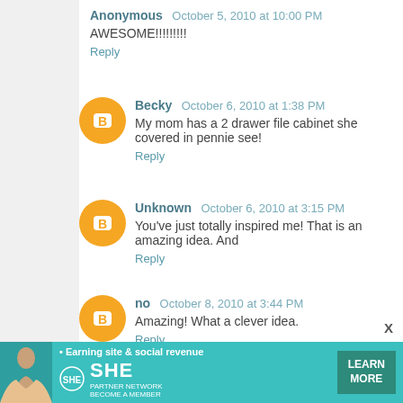Anonymous  October 5, 2010 at 10:00 PM
AWESOME!!!!!!!!!
Reply
Becky  October 6, 2010 at 1:38 PM
My mom has a 2 drawer file cabinet she covered in pennie see!
Reply
Unknown  October 6, 2010 at 3:15 PM
You've just totally inspired me! That is an amazing idea. And
Reply
no  October 8, 2010 at 3:44 PM
Amazing! What a clever idea.
Reply
[Figure (infographic): SHE Partner Network advertisement banner: Earning site & social revenue, with woman photo, SHE logo, Learn More button]